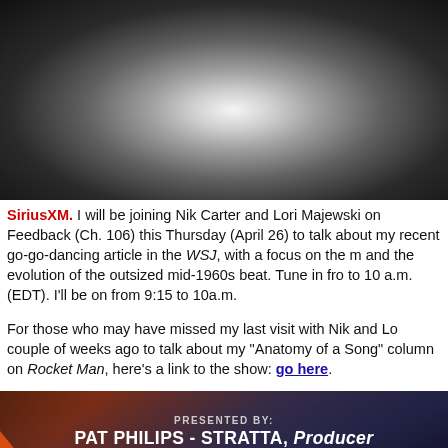[Figure (photo): Black and white photo, appears to show a person or figure against dark background, mostly dark with white/grey highlights in center]
SiriusXM. I will be joining Nik Carter and Lori Majewski on Feedback (Ch. 106) this Thursday (April 26) to talk about my recent go-go-dancing article in the WSJ, with a focus on the music and the evolution of the outsized mid-1960s beat. Tune in from 9 to 10 a.m. (EDT). I'll be on from 9:15 to 10a.m.
For those who may have missed my last visit with Nik and Lori a couple of weeks ago to talk about my "Anatomy of a Song" column on Rocket Man, here's a link to the show: go here.
[Figure (photo): Dark promotional image with text: PRESENTED BY: PAT PHILIPS - STRATTA, Producer AND LEONARDO & GEORGE DICAPRIO. Orange triangle/logo in lower left corner. Dark background with dramatic lighting.]